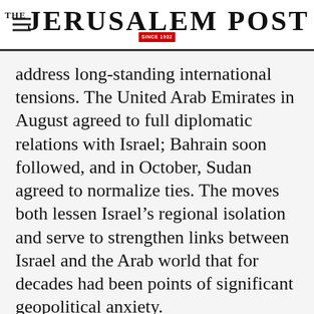THE JERUSALEM POST
address long-standing international tensions. The United Arab Emirates in August agreed to full diplomatic relations with Israel; Bahrain soon followed, and in October, Sudan agreed to normalize ties. The moves both lessen Israel’s regional isolation and serve to strengthen links between Israel and the Arab world that for decades had been points of significant geopolitical anxiety.
Advertisement